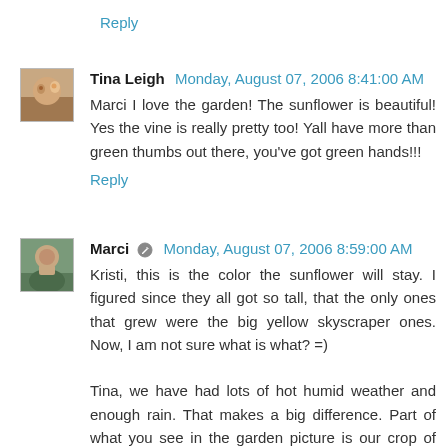Reply
Tina Leigh  Monday, August 07, 2006 8:41:00 AM
Marci I love the garden! The sunflower is beautiful! Yes the vine is really pretty too! Yall have more than green thumbs out there, you've got green hands!!!
Reply
Marci  Monday, August 07, 2006 8:59:00 AM
Kristi, this is the color the sunflower will stay. I figured since they all got so tall, that the only ones that grew were the big yellow skyscraper ones. Now, I am not sure what is what? =)

Tina, we have had lots of hot humid weather and enough rain. That makes a big difference. Part of what you see in the garden picture is our crop of weeds!! =)
Reply